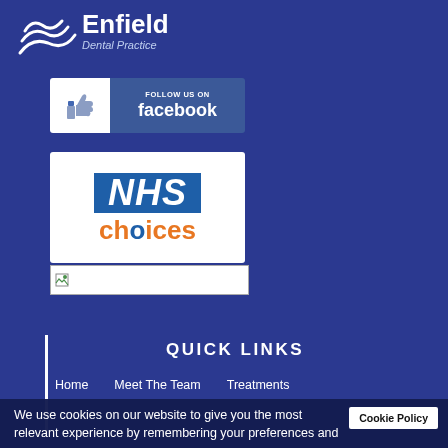[Figure (logo): Enfield Dental Practice logo with wave/swirl graphic and text 'Enfield Dental Practice' in white on dark blue background]
[Figure (logo): Facebook Follow Us badge: thumbs up icon on white, 'FOLLOW US ON facebook' text on blue background]
[Figure (logo): NHS Choices logo: white rectangle with blue 'NHS' italic text and orange 'choices' text with blue dot]
[Figure (other): Small image placeholder with broken image icon, white background with gray border]
QUICK LINKS
Home
Meet The Team
Treatments
We use cookies on our website to give you the most relevant experience by remembering your preferences and